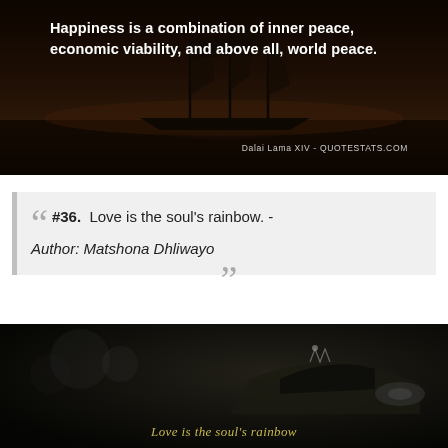[Figure (photo): Dark photo of a sailing ship at dusk/night with overlay text: 'Happiness is a combination of inner peace, economic viability, and above all, world peace.' attributed to Dalai Lama XIV - QUOTESTATS.COM]
#36. Love is the soul's rainbow. - Author: Matshona Dhliwayo
[Figure (photo): Dark photo of a classic car interior/exterior at night with yellow-green italic text at bottom: 'Love is the soul's rainbow']